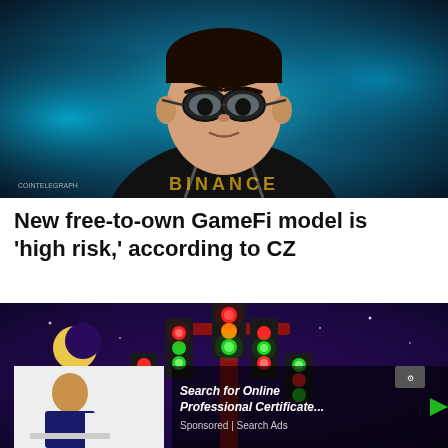[Figure (illustration): Illustrated portrait of CZ (Changpeng Zhao) of Binance, shown as a stylized digital illustration against a blue-teal glowing background. He wears glasses and a dark hoodie with 'BINANCE' text at the bottom.]
New free-to-own GameFi model is 'high risk,' according to CZ
[Figure (illustration): A stylized video game scene showing a tower of red and green traffic lights decorated with glowing bulbs against a purple night sky with a crescent moon. An ad overlay shows a person in a suit with text 'Search for Online Professional Certificate...' from Search Ads.]